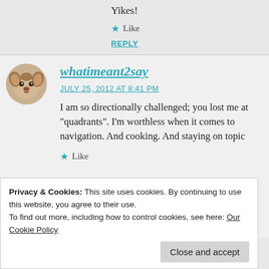Yikes!
★ Like
REPLY
whatimeant2say
JULY 25, 2012 AT 8:41 PM
I am so directionally challenged; you lost me at "quadrants". I'm worthless when it comes to navigation. And cooking. And staying on topic
★ Like
Privacy & Cookies: This site uses cookies. By continuing to use this website, you agree to their use. To find out more, including how to control cookies, see here: Our Cookie Policy
Close and accept